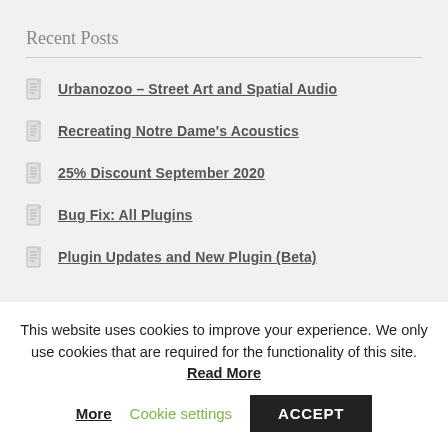Recent Posts
Urbanozoo – Street Art and Spatial Audio
Recreating Notre Dame's Acoustics
25% Discount September 2020
Bug Fix: All Plugins
Plugin Updates and New Plugin (Beta)
Categories
This website uses cookies to improve your experience. We only use cookies that are required for the functionality of this site. Read More Cookie settings ACCEPT